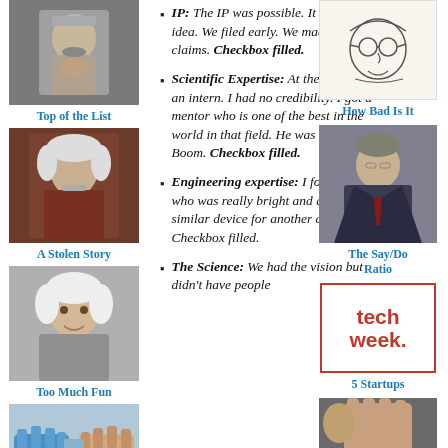[Figure (photo): Black and white photo of Mark Twain (bearded man)]
Top of the List
[Figure (photo): Photo of Albert Einstein]
A Stolen Story
[Figure (photo): Photo of elderly person with white hair]
Too Much Fun
[Figure (photo): Photo of handshake between human and robotic hand]
How Hyperlocal Social Economies Evolve
IP: The IP was possible. It was a great idea. We filed early. We made real good claims. Checkbox filled.
Scientific Expertise: At the time, I was an intern. I had no credibility. I got a mentor who is one of the best in the world in that field. He was interested. Boom. Checkbox filled.
Engineering expertise: I found a guy who was really bright and designed a similar device for another company. Checkbox filled.
The Science: We had the vision but didn't have people
[Figure (illustration): Cartoon/sketch drawing of a person with glasses]
How Bad Is It
[Figure (photo): Photo of a man in a suit (politician/official)]
The Say/Do Ratio
[Figure (logo): Tech Week logo — red bold text reading 'tech week' in a red-bordered box]
5 Startups
[Figure (photo): Photo of person holding up a hand with 'LIAR' written on it]
Liar
[Figure (photo): Partial photo at bottom right (partially visible)]